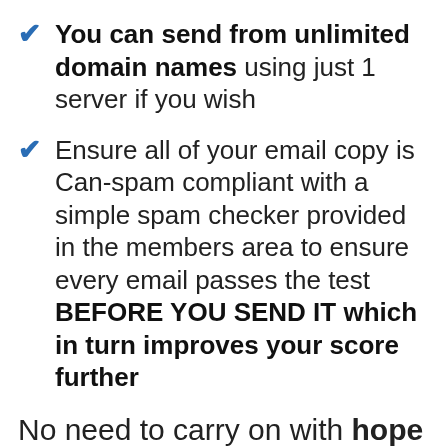You can send from unlimited domain names using just 1 server if you wish
Ensure all of your email copy is Can-spam compliant with a simple spam checker provided in the members area to ensure every email passes the test BEFORE YOU SEND IT which in turn improves your score further
No need to carry on with hope